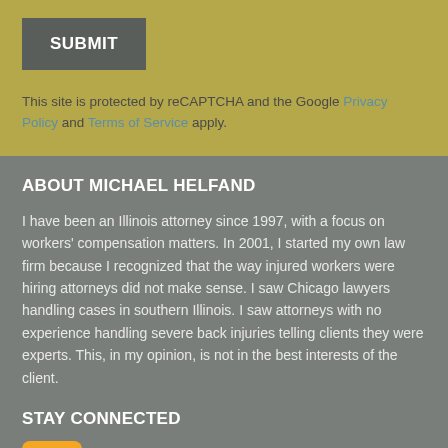SUBMIT
This site is protected by reCAPTCHA and the Google Privacy Policy and Terms of Service apply.
ABOUT MICHAEL HELFAND
I have been an Illinois attorney since 1997, with a focus on workers' compensation matters.  In 2001, I started my own law firm because I recognized that the way injured workers were hiring attorneys did not make sense. I saw Chicago lawyers handling cases in southern Illinois. I saw attorneys with no experience handling severe back injuries telling clients they were experts.  This, in my opinion, is not in the best interests of the client.
STAY CONNECTED
[Figure (logo): RSS feed icon - orange square with white RSS signal symbol]
Subscribe to this blog by Email
Email Address